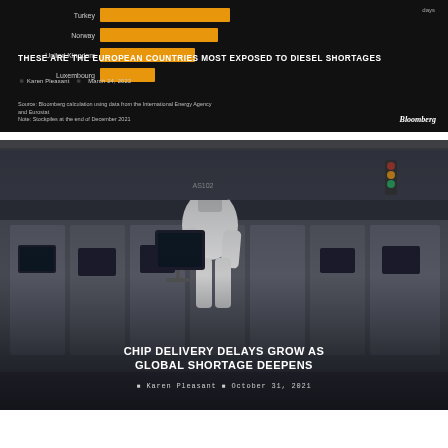[Figure (bar-chart): Horizontal bar chart on dark background showing European countries most exposed to diesel shortages. Countries listed: Turkey, Norway, United Kingdom, Luxembourg with orange bars.]
Karen Pleasant · March 24, 2022
[Figure (photo): Photo of a worker in white cleanroom suit and mask operating equipment in a semiconductor manufacturing facility. Industrial machines in a row.]
CHIP DELIVERY DELAYS GROW AS GLOBAL SHORTAGE DEEPENS
Karen Pleasant · October 31, 2021